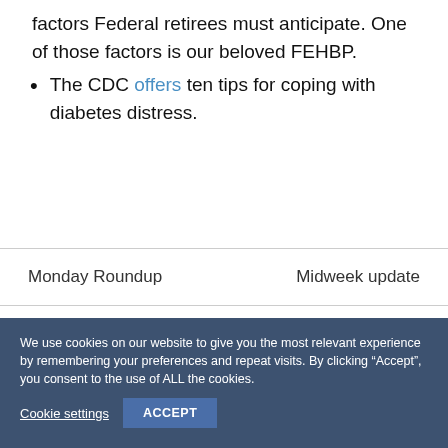factors Federal retirees must anticipate. One of those factors is our beloved FEHBP.
The CDC offers ten tips for coping with diabetes distress.
Monday Roundup   Midweek update
We use cookies on our website to give you the most relevant experience by remembering your preferences and repeat visits. By clicking “Accept”, you consent to the use of ALL the cookies.
Cookie settings   ACCEPT